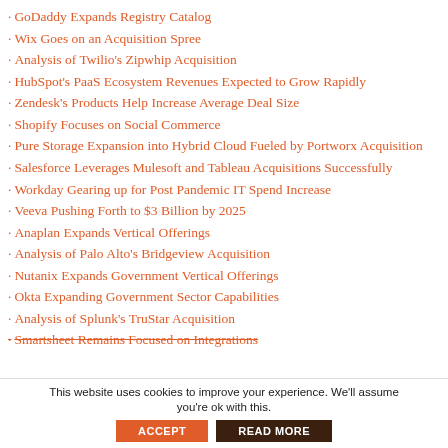GoDaddy Expands Registry Catalog
Wix Goes on an Acquisition Spree
Analysis of Twilio's Zipwhip Acquisition
HubSpot's PaaS Ecosystem Revenues Expected to Grow Rapidly
Zendesk's Products Help Increase Average Deal Size
Shopify Focuses on Social Commerce
Pure Storage Expansion into Hybrid Cloud Fueled by Portworx Acquisition
Salesforce Leverages Mulesoft and Tableau Acquisitions Successfully
Workday Gearing up for Post Pandemic IT Spend Increase
Veeva Pushing Forth to $3 Billion by 2025
Anaplan Expands Vertical Offerings
Analysis of Palo Alto's Bridgeview Acquisition
Nutanix Expands Government Vertical Offerings
Okta Expanding Government Sector Capabilities
Analysis of Splunk's TruStar Acquisition
Smartsheet Remains Focused on Integrations
This website uses cookies to improve your experience. We'll assume you're ok with this.